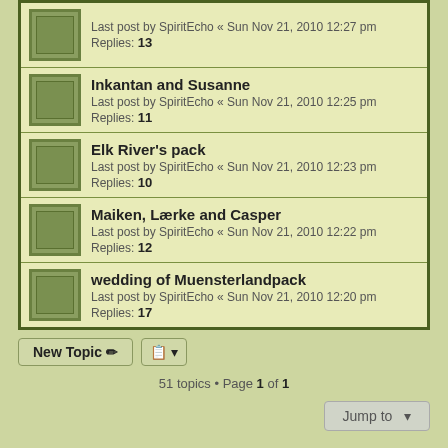Last post by SpiritEcho « Sun Nov 21, 2010 12:27 pm
Replies: 13
Inkantan and Susanne
Last post by SpiritEcho « Sun Nov 21, 2010 12:25 pm
Replies: 11
Elk River's pack
Last post by SpiritEcho « Sun Nov 21, 2010 12:23 pm
Replies: 10
Maiken, Lærke and Casper
Last post by SpiritEcho « Sun Nov 21, 2010 12:22 pm
Replies: 12
wedding of Muensterlandpack
Last post by SpiritEcho « Sun Nov 21, 2010 12:20 pm
Replies: 17
51 topics • Page 1 of 1
Forum permissions
You cannot post new topics in this forum
You cannot reply to topics in this forum
You cannot edit your posts in this forum
You cannot delete your posts in this forum
You cannot post attachments in this forum